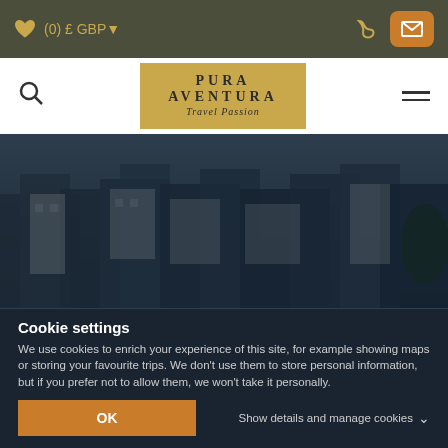(0) £ GBP▼
[Figure (screenshot): Pura Aventura Travel Passion logo on golden background]
[Figure (photo): Aerial view of Moorish white village buildings with dark blue overlay]
Moorish palaces and storied cities; sunlit villages and quiet walking trails. These are the headline acts and the hidden highlights of Andalucia.
Cookie settings
We use cookies to enrich your experience of this site, for example showing maps or storing your favourite trips. We don't use them to store personal information, but if you prefer not to allow them, we won't take it personally.
OK
Show details and manage cookies